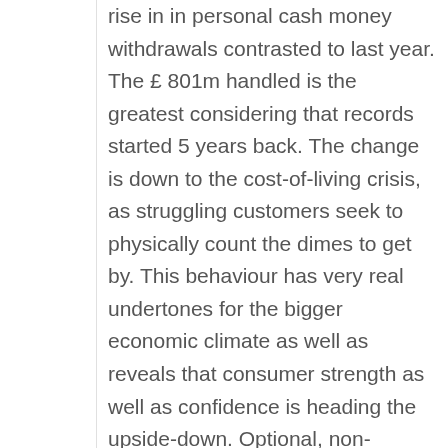rise in in personal cash money withdrawals contrasted to last year. The £ 801m handled is the greatest considering that records started 5 years back. The change is down to the cost-of-living crisis, as struggling customers seek to physically count the dimes to get by. This behaviour has very real undertones for the bigger economic climate as well as reveals that consumer strength as well as confidence is heading the upside-down. Optional, non-essential things, from a pub drink to a summertime vacation, are the expendables in this setting as well as such products are likely to feel the pinch in the coming months. Whatever the wider ramifications, there is certainly a clear sign that psychology is transforming to counting money in the real world as well as moving far from the tap-now-worry-later that includes card society. The wti crude oil prices dropped on Monday, floating near multi-month lows, as recession concerns harmed need expectation as well as information indicated a slow recuperation in China's unrefined imports last